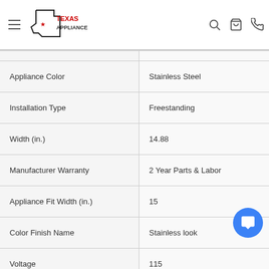Texas Appliance — navigation header with logo, search, cart, phone icons
| Specification | Value |
| --- | --- |
| Appliance Color | Stainless Steel |
| Installation Type | Freestanding |
| Width (in.) | 14.88 |
| Manufacturer Warranty | 2 Year Parts & Labor |
| Appliance Fit Width (in.) | 15 |
| Color Finish Name | Stainless look |
| Voltage | 115 |